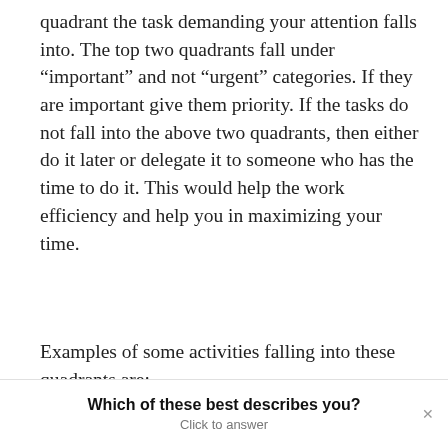quadrant the task demanding your attention falls into. The top two quadrants fall under “important” and not “urgent” categories. If they are important give them priority. If the tasks do not fall into the above two quadrants, then either do it later or delegate it to someone who has the time to do it. This would help the work efficiency and help you in maximizing your time.
Examples of some activities falling into these quadrants are:
Which of these best describes you? Click to answer